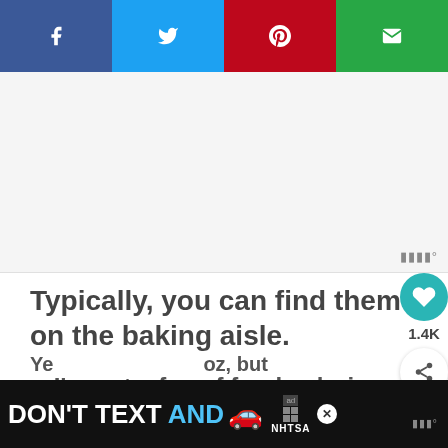[Figure (screenshot): Social share bar with Facebook, Twitter, Pinterest, and email buttons]
[Figure (screenshot): Gray advertisement placeholder area with weather widget badge in bottom right]
Typically, you can find them on the baking aisle.
I'm not a fan of food coloring – co leave it out?
[Figure (screenshot): What's Next widget showing Sonic Copycat Cherry... with food image]
[Figure (screenshot): Bottom advertisement banner: DON'T TEXT AND [car emoji] with NHTSA branding]